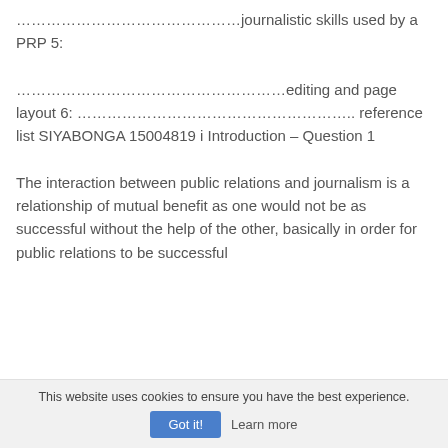………………………………………journalistic skills used by a PRP 5: ………………………………………………editing and page layout 6: ……………………………………………….. reference list SIYABONGA 15004819 i Introduction – Question 1 The interaction between public relations and journalism is a relationship of mutual benefit as one would not be as successful without the help of the other, basically in order for public relations to be successful
This website uses cookies to ensure you have the best experience.